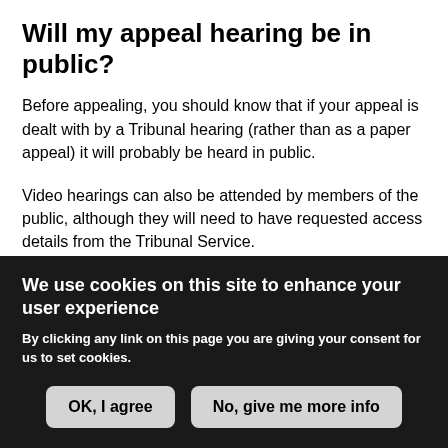Will my appeal hearing be in public?
Before appealing, you should know that if your appeal is dealt with by a Tribunal hearing (rather than as a paper appeal) it will probably be heard in public.
Video hearings can also be attended by members of the public, although they will need to have requested access details from the Tribunal Service.
In both cases, human rights law requires public hearings as a general course.
We use cookies on this site to enhance your user experience
By clicking any link on this page you are giving your consent for us to set cookies.